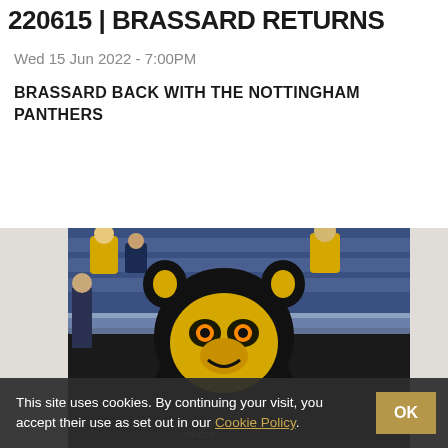220615 | BRASSARD RETURNS
Wed 15 Jun 2022 - 7:00PM
BRASSARD BACK WITH THE NOTTINGHAM PANTHERS
READ MORE
[Figure (photo): Nottingham Panthers mascot — a large black and gold lion-head costume character standing at the rink boards, with fans in yellow and black jerseys visible in background.]
This site uses cookies. By continuing your visit, you accept their use as set out in our Cookie Policy.   OK